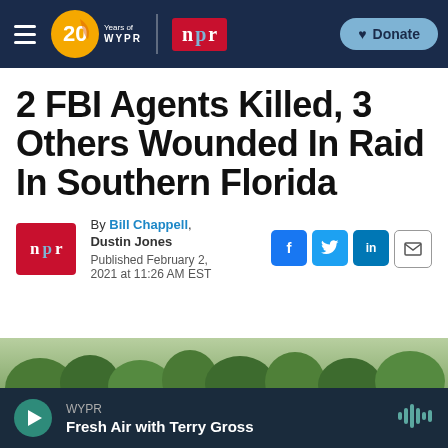WYPR — 20 Years of WYPR | NPR | Donate
2 FBI Agents Killed, 3 Others Wounded In Raid In Southern Florida
By Bill Chappell, Dustin Jones
Published February 2, 2021 at 11:26 AM EST
[Figure (photo): Aerial or ground photo showing trees/foliage in Southern Florida]
WYPR — Fresh Air with Terry Gross